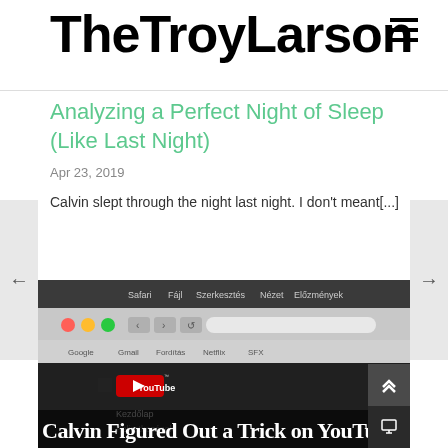TheTroyLarson
Analyzing a Perfect Night of Sleep (Like Last Night)
Apr 23, 2019
Calvin slept through the night last night. I don't meant[...]
[Figure (screenshot): Screenshot of a Mac browser showing YouTube website, with overlay text 'Calvin Figured Out a Trick on YouTube']